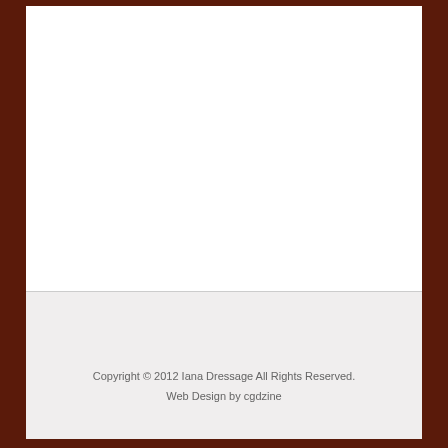Copyright © 2012 Iana Dressage All Rights Reserved.
Web Design by cgdzine